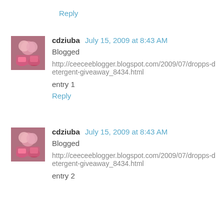Reply
cdziuba  July 15, 2009 at 8:43 AM
Blogged
http://ceeceeblogger.blogspot.com/2009/07/dropps-detergent-giveaway_8434.html
entry 1
Reply
cdziuba  July 15, 2009 at 8:43 AM
Blogged
http://ceeceeblogger.blogspot.com/2009/07/dropps-detergent-giveaway_8434.html
entry 2